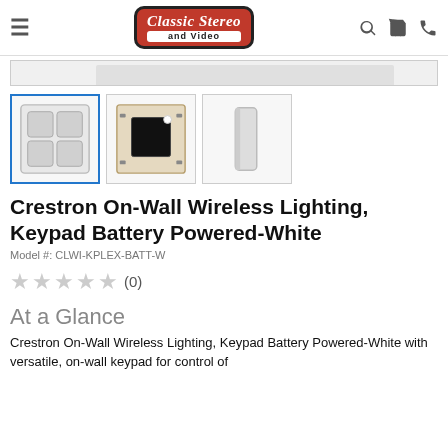Classic Stereo and Video — navigation header with logo and icons
[Figure (photo): Bottom edge of a main product image strip (gray bar)]
[Figure (photo): Three product thumbnail images: front view (4-button keypad white), back view with adhesive tape, side profile view]
Crestron On-Wall Wireless Lighting, Keypad Battery Powered-White
Model #: CLWI-KPLEX-BATT-W
★★★★★ (0)
At a Glance
Crestron On-Wall Wireless Lighting, Keypad Battery Powered-White with versatile, on-wall keypad for control of